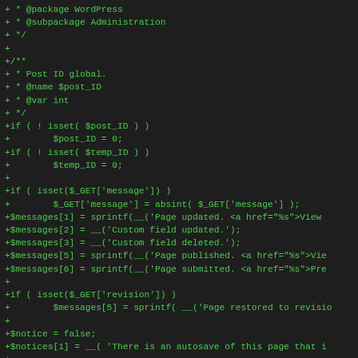[Figure (screenshot): A code diff viewer showing PHP source code with green '+' lines indicating additions. The code is from a WordPress administration file, showing PHP variable declarations and message string assignments including post ID globals, GET parameter handling, and form action setup.]